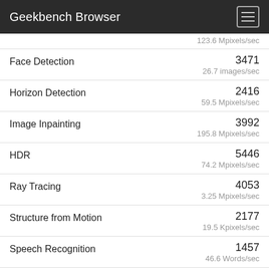Geekbench Browser
123.6 Mpixels/sec
Face Detection  3471  26.7 images/sec
Horizon Detection  2416  59.5 Mpixels/sec
Image Inpainting  3992  195.8 Mpixels/sec
HDR  5446  74.2 Mpixels/sec
Ray Tracing  4053  3.25 Mpixels/sec
Structure from Motion  2177  19.5 Kpixels/sec
Speech Recognition  1457  46.6 Words/sec